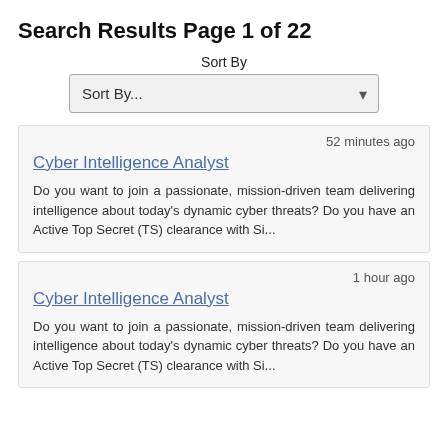Search Results Page 1 of 22
Sort By
Sort By...
52 minutes ago
Cyber Intelligence Analyst
Do you want to join a passionate, mission-driven team delivering intelligence about today's dynamic cyber threats? Do you have an Active Top Secret (TS) clearance with Si...
1 hour ago
Cyber Intelligence Analyst
Do you want to join a passionate, mission-driven team delivering intelligence about today's dynamic cyber threats? Do you have an Active Top Secret (TS) clearance with Si...